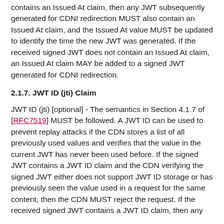contains an Issued At claim, then any JWT subsequently generated for CDNI redirection MUST also contain an Issued At claim, and the Issued At value MUST be updated to identify the time the new JWT was generated. If the received signed JWT does not contain an Issued At claim, an Issued At claim MAY be added to a signed JWT generated for CDNI redirection.
2.1.7. JWT ID (jti) Claim
JWT ID (jti) [optional] - The semantics in Section 4.1.7 of [RFC7519] MUST be followed. A JWT ID can be used to prevent replay attacks if the CDN stores a list of all previously used values and verifies that the value in the current JWT has never been used before. If the signed JWT contains a JWT ID claim and the CDN verifying the signed JWT either does not support JWT ID storage or has previously seen the value used in a request for the same content, then the CDN MUST reject the request. If the received signed JWT contains a JWT ID claim, then any